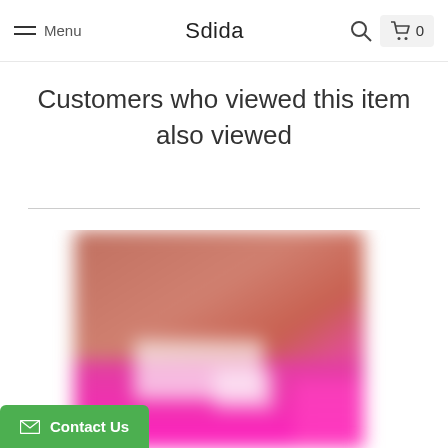Menu | Sdida | 0
Customers who viewed this item also viewed
[Figure (photo): Blurred product image showing a pink/red cosmetic or health product box]
Contact Us